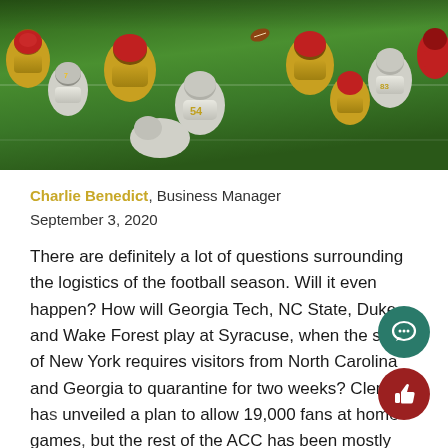[Figure (photo): American football game photo showing players lined up at the line of scrimmage. White-uniformed Georgia Tech players face gold-uniformed Florida State players on a green grass field.]
Charlie Benedict, Business Manager
September 3, 2020
There are definitely a lot of questions surrounding the logistics of the football season. Will it even happen? How will Georgia Tech, NC State, Duke and Wake Forest play at Syracuse, when the state of New York requires visitors from North Carolina and Georgia to quarantine for two weeks? Clemson has unveiled a plan to allow 19,000 fans at home games, but the rest of the ACC has been mostly silent. I won't pretend to have any amazingly insightful answers to